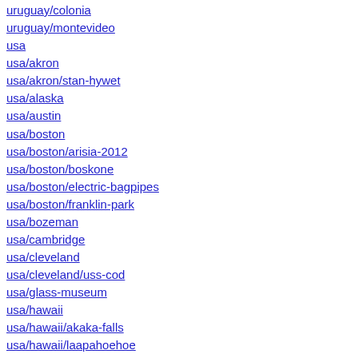uruguay/colonia
uruguay/montevideo
usa
usa/akron
usa/akron/stan-hywet
usa/alaska
usa/austin
usa/boston
usa/boston/arisia-2012
usa/boston/boskone
usa/boston/electric-bagpipes
usa/boston/franklin-park
usa/bozeman
usa/cambridge
usa/cleveland
usa/cleveland/uss-cod
usa/glass-museum
usa/hawaii
usa/hawaii/akaka-falls
usa/hawaii/laapahoehoe
usa/hawaii/northeast-coast
usa/hawaii/oahu
usa/hawaii/oahu/pali
usa/hawaii/oahu/to-pali
usa/hawaii/oahu/west